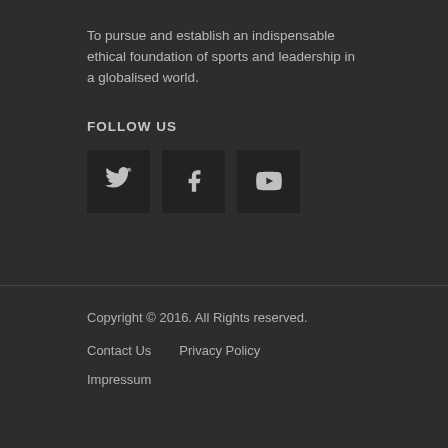To pursue and establish an indispensable ethical foundation of sports and leadership in a globalised world.
FOLLOW US
[Figure (other): Three social media icon buttons: Twitter (bird icon), Facebook (f icon), YouTube (play button icon), displayed as dark square tiles.]
Copyright © 2016. All Rights reserved.
Contact Us   Privacy Policy
Impressum